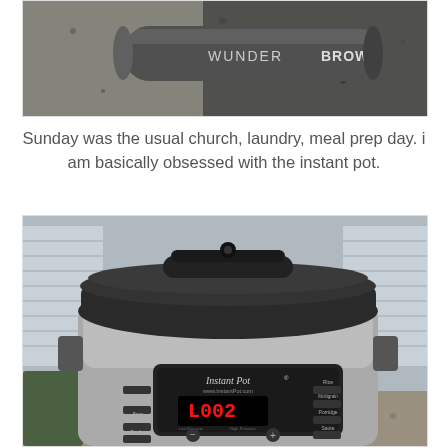[Figure (photo): Photo of a WUNDERBROW makeup product (cylindrical tube with text 'WUNDERBROW' in bold) lying on a granite countertop]
Sunday was the usual church, laundry, meal prep day. i am basically obsessed with the instant pot.
[Figure (photo): Photo of an Instant Pot pressure cooker on a kitchen counter. The display shows 'L002'. The front panel shows 'Instant Pot' branding and 'www.InstantPot.com'. Various buttons visible including Soup, Meat/Stew, Bean/Chili, Poultry, Rice, Multigrain, Porridge, Saute.]